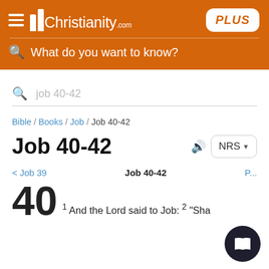Christianity.com PLUS
What do you want to know?
job 40-42
Bible / Books / Job / Job 40-42
Job 40-42
NRS
< Job 39   Job 40-42   P...
40  1 And the Lord said to Job: 2 "Sha...